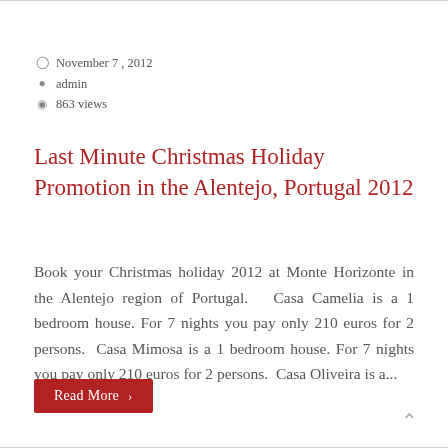November 7, 2012
admin
863 views
Last Minute Christmas Holiday Promotion in the Alentejo, Portugal 2012
Book your Christmas holiday 2012 at Monte Horizonte in the Alentejo region of Portugal.   Casa Camelia is a 1 bedroom house. For 7 nights you pay only 210 euros for 2 persons.  Casa Mimosa is a 1 bedroom house. For 7 nights you pay only 210 euros for 2 persons.  Casa Oliveira is a...
Read More >